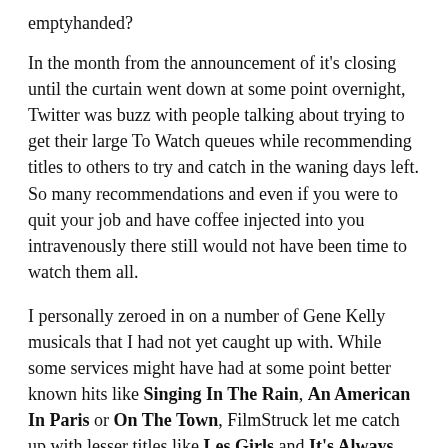emptyhanded?
In the month from the announcement of it's closing until the curtain went down at some point overnight, Twitter was buzz with people talking about trying to get their large To Watch queues while recommending titles to others to try and catch in the waning days left. So many recommendations and even if you were to quit your job and have coffee injected into you intravenously there still would not have been time to watch them all.
I personally zeroed in on a number of Gene Kelly musicals that I had not yet caught up with. While some services might have had at some point better known hits like Singing In The Rain, An American In Paris or On The Town, FilmStruck let me catch up with lesser titles like Les Girls and It's Always Fair Weather. I even managed to squeeze in the non-musical The Black Hand, a rather atypical film for Kelly – he plays the son of a murdered Italian immigrant who vows to bring down the organized crime gangs in Little Italy – and one that feels more